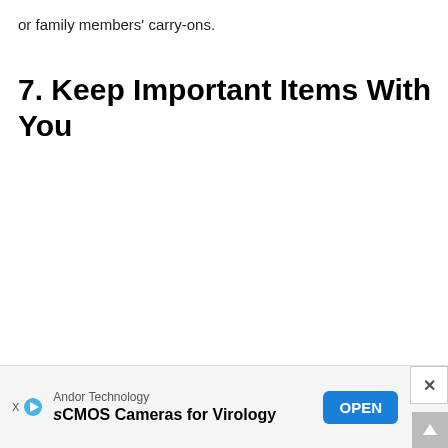or family members' carry-ons.
7. Keep Important Items With You
With tr... isn't an opti... to
Andor Technology sCMOS Cameras for Virology OPEN